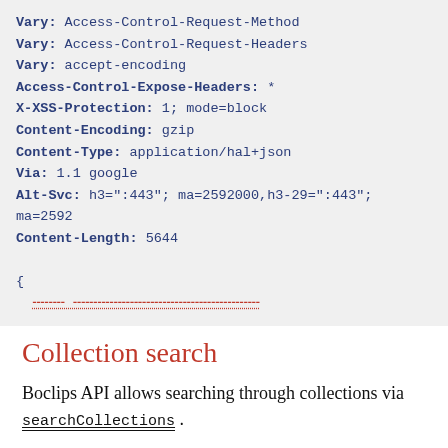[Figure (screenshot): Code block showing HTTP response headers and the beginning of a JSON body. Headers include Vary, Access-Control-Expose-Headers, X-XSS-Protection, Content-Encoding, Content-Type, Via, Alt-Svc, Content-Length, followed by an opening brace and a partially visible red underlined line.]
Collection search
Boclips API allows searching through collections via searchCollections .
Collection search results are pageable — you can control both the page number and page size.
You can filter collections by lesson plans. If you